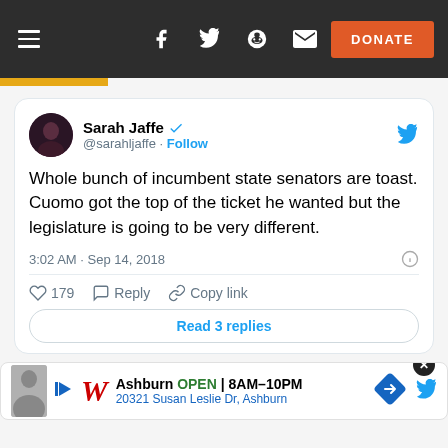Navigation bar with hamburger menu, social icons (Facebook, Twitter, Reddit, Email), and DONATE button
[Figure (screenshot): Embedded tweet from Sarah Jaffe (@sarahljaffe) with verified badge and Follow link. Tweet text: Whole bunch of incumbent state senators are toast. Cuomo got the top of the ticket he wanted but the legislature is going to be very different. Timestamp: 3:02 AM · Sep 14, 2018. Likes: 179. Actions: Reply, Copy link. Button: Read 3 replies.]
[Figure (infographic): Advertisement banner for Walgreens Ashburn: OPEN 8AM-10PM, 20321 Susan Leslie Dr, Ashburn. Includes close button, person silhouette, Walgreens cursive W logo, navigation arrow diamond icon, and Twitter bird icon.]